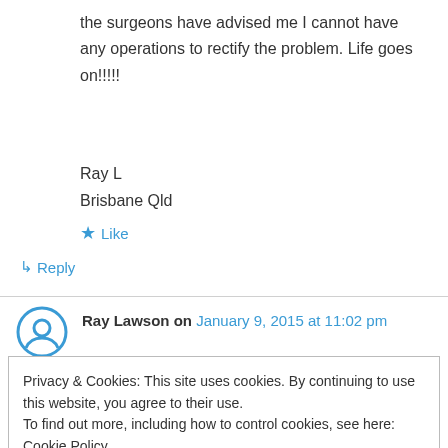the surgeons have advised me I cannot have any operations to rectify the problem. Life goes on!!!!!
Ray L
Brisbane Qld
★ Like
↳ Reply
Ray Lawson on January 9, 2015 at 11:02 pm
Privacy & Cookies: This site uses cookies. By continuing to use this website, you agree to their use.
To find out more, including how to control cookies, see here: Cookie Policy
Close and accept